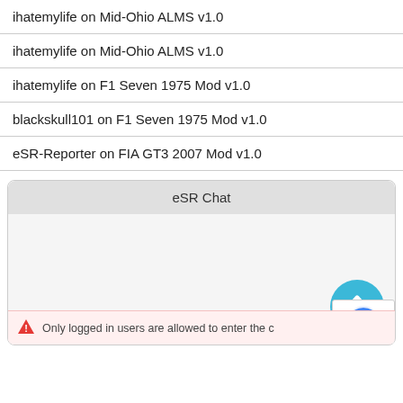ihatemylife on Mid-Ohio ALMS v1.0
ihatemylife on Mid-Ohio ALMS v1.0
ihatemylife on F1 Seven 1975 Mod v1.0
blackskull101 on F1 Seven 1975 Mod v1.0
eSR-Reporter on FIA GT3 2007 Mod v1.0
eSR Chat
[Figure (screenshot): Scroll-up button: blue circle with white chevron pointing up]
[Figure (logo): reCAPTCHA logo badge with 'Privacy - Terms' text]
Only logged in users are allowed to enter the c